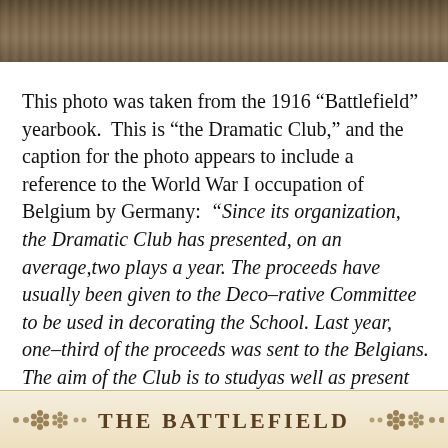[Figure (photo): Top strip of an old sepia/brown photograph from a 1916 yearbook, showing a textured dark background.]
This photo was taken from the 1916 “Battlefield” yearbook. This is “the Dramatic Club,” and the caption for the photo appears to include a reference to the World War I occupation of Belgium by Germany: “Since its organization, the Dramatic Club has presented, on an average,two plays a year. The proceeds have usually been given to the Deco–rative Committee to be used in decorating the School. Last year, one–third of the proceeds was sent to the Belgians. The aim of the Club is to studyas well as present plays. We have joined the Drama League of America, from which we hope to gain beneficial results.”
[Figure (illustration): Footer banner with decorative floral/snowflake ornaments on both sides and the stylized text THE BATTLEFIELD in the center, on a cream/tan background.]